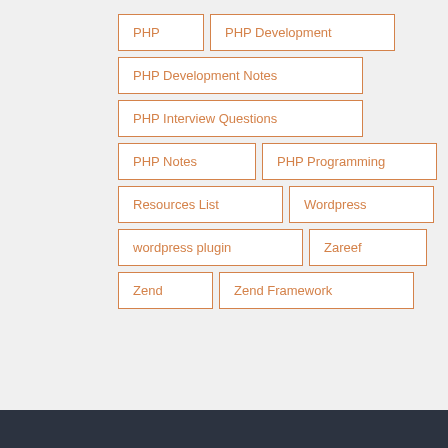PHP
PHP Development
PHP Development Notes
PHP Interview Questions
PHP Notes
PHP Programming
Resources List
Wordpress
wordpress plugin
Zareef
Zend
Zend Framework